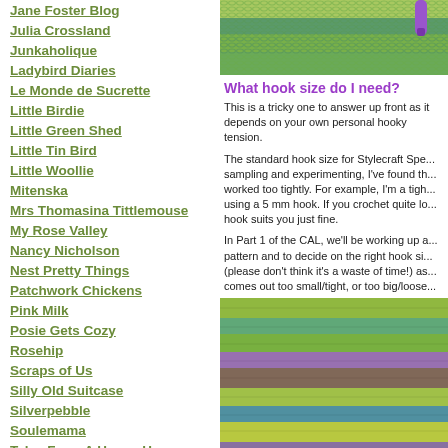Jane Foster Blog
Julia Crossland
Junkaholique
Ladybird Diaries
Le Monde de Sucrette
Little Birdie
Little Green Shed
Little Tin Bird
Little Woollie
Mitenska
Mrs Thomasina Tittlemouse
My Rose Valley
Nancy Nicholson
Nest Pretty Things
Patchwork Chickens
Pink Milk
Posie Gets Cozy
Rosehip
Scraps of Us
Silly Old Suitcase
Silverpebble
Soulemama
Tales From A Happy House.
Tangled Happy
Teawagon Tales
Teresa Kasner
[Figure (photo): Close-up of green and blue crochet work with purple crochet hook visible at top right]
What hook size do I need?
This is a tricky one to answer up front as it depends on your own personal hooky tension.
The standard hook size for Stylecraft Special DK is sampling and experimenting, I've found that worked too tightly. For example, I'm a tight crocheter using a 5 mm hook. If you crochet quite loosely a 4mm hook suits you just fine.
In Part 1 of the CAL, we'll be working up a pattern and to decide on the right hook size (please don't think it's a waste of time!) as comes out too small/tight, or too big/loose
[Figure (photo): Close-up of striped crochet fabric showing rows of green, teal, purple, and brown yarn]